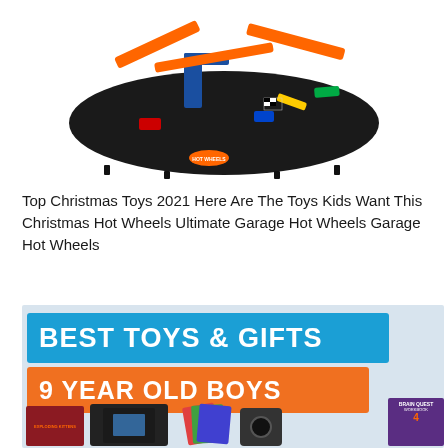[Figure (photo): Hot Wheels Ultimate Garage track set with orange ramps, cars, and black base against white background]
Top Christmas Toys 2021 Here Are The Toys Kids Want This Christmas Hot Wheels Ultimate Garage Hot Wheels Garage Hot Wheels
[Figure (photo): Best Toys & Gifts for 9 Year Old Boys banner image with blue and orange text bars, showing toys including Exploding Kittens card game, Nintendo Switch, GoPro camera, Brain Quest Workbook, and other children's toys and games]